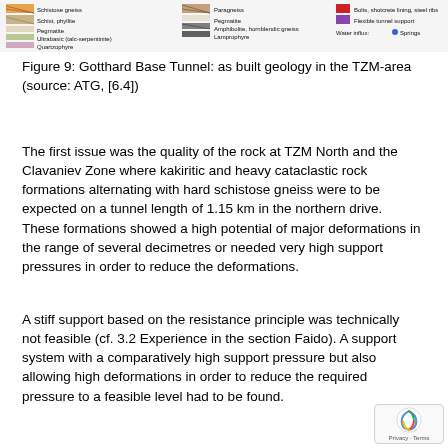[Figure (illustration): Legend strip at top of page showing geological symbols and colors for tunnel geology map including: Schistose gneiss, Schist/phyllite, Pegmatite, Ultrabasic (talc-serpentinite), Quartzophyre; Paragneiss, Pegmatite, Amphibolite/hornblendic gneiss, Lamprophyre; Bolts/shotcrete lining/steel ribs, Flexible tunnel support; Water influx: Springs]
Figure 9: Gotthard Base Tunnel: as built geology in the TZM-area (source: ATG, [6.4])
The first issue was the quality of the rock at TZM North and the Clavaniev Zone where kakiritic and heavy cataclastic rock formations alternating with hard schistose gneiss were to be expected on a tunnel length of 1.15 km in the northern drive. These formations showed a high potential of major deformations in the range of several decimetres or needed very high support pressures in order to reduce the deformations.
A stiff support based on the resistance principle was technically not feasible (cf. 3.2 Experience in the section Faido). A support system with a comparatively high support pressure but also allowing high deformations in order to reduce the required pressure to a feasible level had to be found.